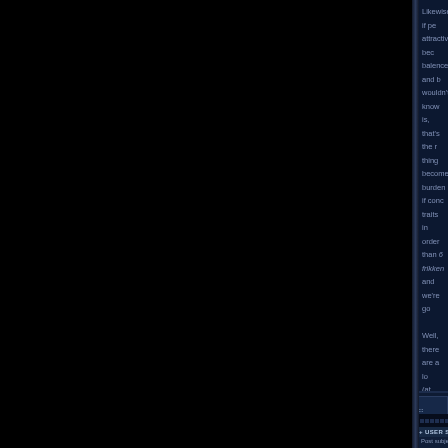Likewise, if people find you attractive, because of some balance and beauty you wouldn't know what that is, that's the most boring thing become an unfair burden if conceived all traits in order to be more than 6 frikken and we're go...
Well, there are a lo... (at least from what... isolated town wher... beautiful that peop... person's walk. Else... this town, where it...
If that was compre... post anything at all...
Mon Nov 25, 2002 1:12 am
PROFILE
+ USER STATS +
Post subject: Blue e...
dougisfunny